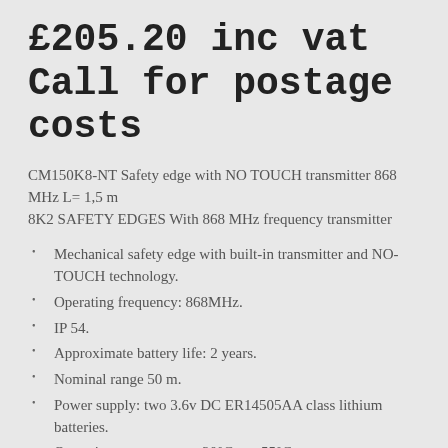£205.20 inc vat Call for postage costs
CM150K8-NT Safety edge with NO TOUCH transmitter 868 MHz L= 1,5 m
8K2 SAFETY EDGES With 868 MHz frequency transmitter
Mechanical safety edge with built-in transmitter and NO-TOUCH technology.
Operating frequency: 868MHz.
IP 54.
Approximate battery life: 2 years.
Nominal range 50 m.
Power supply: two 3.6v DC ER14505AA class lithium batteries.
Operating temperature: -20°C to +55°C.